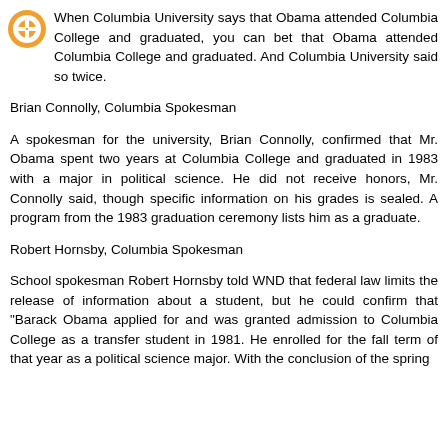When Columbia University says that Obama attended Columbia College and graduated, you can bet that Obama attended Columbia College and graduated. And Columbia University said so twice.
Brian Connolly, Columbia Spokesman
A spokesman for the university, Brian Connolly, confirmed that Mr. Obama spent two years at Columbia College and graduated in 1983 with a major in political science. He did not receive honors, Mr. Connolly said, though specific information on his grades is sealed. A program from the 1983 graduation ceremony lists him as a graduate.
Robert Hornsby, Columbia Spokesman
School spokesman Robert Hornsby told WND that federal law limits the release of information about a student, but he could confirm that "Barack Obama applied for and was granted admission to Columbia College as a transfer student in 1981. He enrolled for the fall term of that year as a political science major. With the conclusion of the spring